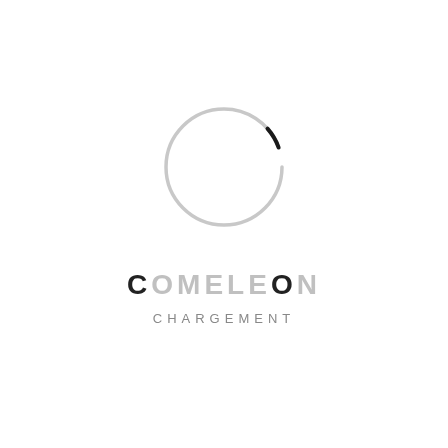[Figure (logo): Comeleon Chargement logo: a circle drawn mostly in light gray with a short dark black arc at the bottom-right, above the wordmark COMELEON in mixed dark/light letters and CHARGEMENT in spaced gray capitals beneath]